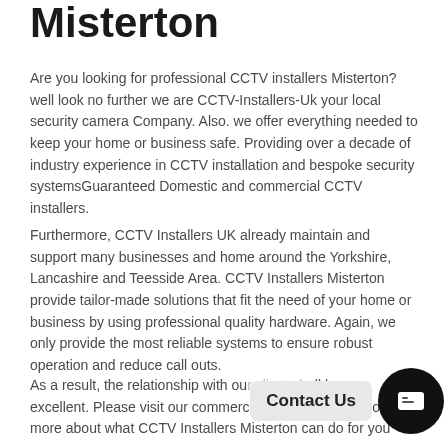Misterton
Are you looking for professional CCTV installers Misterton? well look no further we are CCTV-Installers-Uk your local security camera Company. Also. we offer everything needed to keep your home or business safe. Providing over a decade of industry experience in CCTV installation and bespoke security systemsGuaranteed Domestic and commercial CCTV installers.
Furthermore, CCTV Installers UK already maintain and support many businesses and home around the Yorkshire, Lancashire and Teesside Area. CCTV Installers Misterton provide tailor-made solutions that fit the need of your home or business by using professional quality hardware. Again, we only provide the most reliable systems to ensure robust operation and reduce call outs.
As a result, the relationship with ou...ll been excellent. Please visit our commercial systems to out more about what CCTV Installers Misterton can do for you